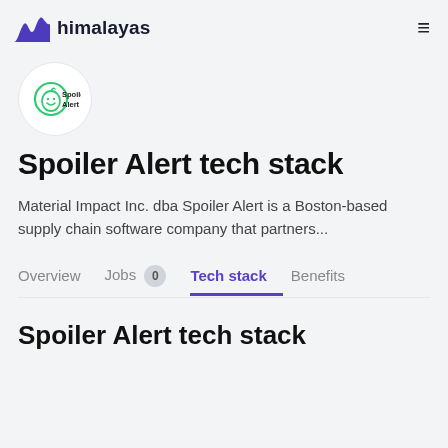himalayas
[Figure (logo): Spoiler Alert company logo in a white circle]
Spoiler Alert tech stack
Material Impact Inc. dba Spoiler Alert is a Boston-based supply chain software company that partners...
Overview  Jobs 0  Tech stack  Benefits
Spoiler Alert tech stack